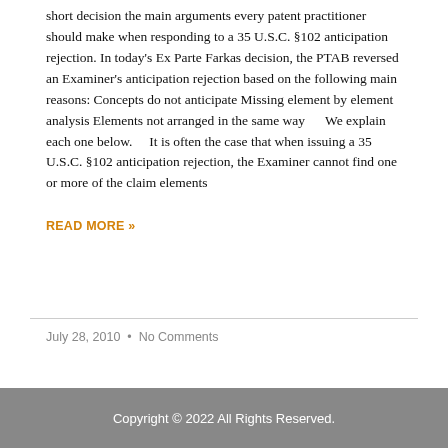short decision the main arguments every patent practitioner should make when responding to a 35 U.S.C. §102 anticipation rejection. In today's Ex Parte Farkas decision, the PTAB reversed an Examiner's anticipation rejection based on the following main reasons: Concepts do not anticipate Missing element by element analysis Elements not arranged in the same way      We explain each one below.      It is often the case that when issuing a 35 U.S.C. §102 anticipation rejection, the Examiner cannot find one or more of the claim elements
READ MORE »
July 28, 2010  •  No Comments
Copyright © 2022 All Rights Reserved.